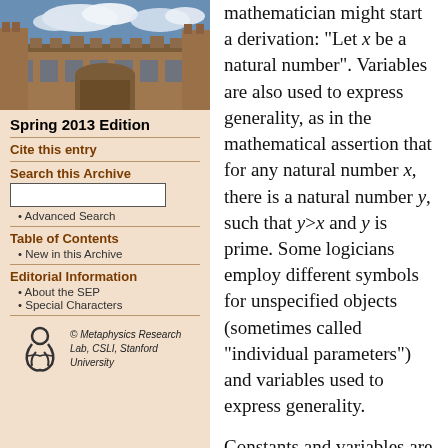[Figure (photo): Photograph of a historic university building with Gothic architecture and blue sky with clouds]
Spring 2013 Edition
Cite this entry
Search this Archive
Advanced Search
Table of Contents
New in this Archive
Editorial Information
About the SEP
Special Characters
[Figure (logo): Metaphysics Research Lab logo - stylized figure]
© Metaphysics Research Lab, CSLI, Stanford University
mathematician might start a derivation: “Let x be a natural number”. Variables are also used to express generality, as in the mathematical assertion that for any natural number x, there is a natural number y, such that y>x and y is prime. Some logicians employ different symbols for unspecified objects (sometimes called “individual parameters”) and variables used to express generality.
Constants and variables are the only terms in our formal language, so all of our terms are simple, corresponding to proper names and pronouns. Some authors also introduce function letters, which allow complex